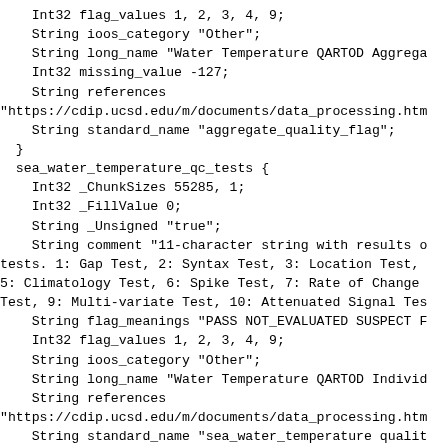Int32 flag_values 1, 2, 3, 4, 9;
    String ioos_category "Other";
    String long_name "Water Temperature QARTOD Aggrega
    Int32 missing_value -127;
    String references
"https://cdip.ucsd.edu/m/documents/data_processing.htm
    String standard_name "aggregate_quality_flag";
  }
  sea_water_temperature_qc_tests {
    Int32 _ChunkSizes 55285, 1;
    Int32 _FillValue 0;
    String _Unsigned "true";
    String comment "11-character string with results o
tests. 1: Gap Test, 2: Syntax Test, 3: Location Test,
5: Climatology Test, 6: Spike Test, 7: Rate of Change
Test, 9: Multi-variate Test, 10: Attenuated Signal Tes
    String flag_meanings "PASS NOT_EVALUATED SUSPECT F
    Int32 flag_values 1, 2, 3, 4, 9;
    String ioos_category "Other";
    String long_name "Water Temperature QARTOD Individ
    String references
"https://cdip.ucsd.edu/m/documents/data_processing.htm
    String standard_name "sea_water_temperature qualit
  }
  sea_surface_wave_mean_period {
    Int32 _ChunkSizes 55285, 1;